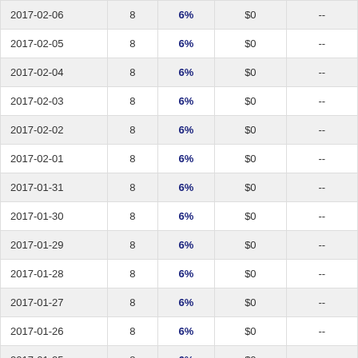| 2017-02-06 | 8 | 6% | $0 | -- |
| 2017-02-05 | 8 | 6% | $0 | -- |
| 2017-02-04 | 8 | 6% | $0 | -- |
| 2017-02-03 | 8 | 6% | $0 | -- |
| 2017-02-02 | 8 | 6% | $0 | -- |
| 2017-02-01 | 8 | 6% | $0 | -- |
| 2017-01-31 | 8 | 6% | $0 | -- |
| 2017-01-30 | 8 | 6% | $0 | -- |
| 2017-01-29 | 8 | 6% | $0 | -- |
| 2017-01-28 | 8 | 6% | $0 | -- |
| 2017-01-27 | 8 | 6% | $0 | -- |
| 2017-01-26 | 8 | 6% | $0 | -- |
| 2017-01-25 | 8 | 6% | $0 | -- |
| 2017-01-24 | 8 | 6% | $0 | -- |
| 2017-01-23 | 8 | 6% | $0 | -- |
| 2017-01-22 | 8 | 6% | $0 | -- |